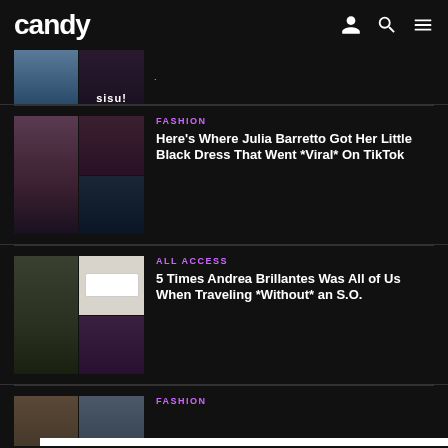candy
[Figure (photo): Partial article image with SIS! branding, cropped at top]
[Figure (photo): Collage of Julia Barretto in a black dress and nighttime party scene]
FASHION
Here's Where Julia Barretto Got Her Little Black Dress That Went *Viral* On TikTok
[Figure (photo): Collage of Andrea Brillantes with friends traveling and a social media screenshot]
ALL ACCESS
5 Times Andrea Brillantes Was All of Us When Traveling *Without* an S.O.
[Figure (photo): Partial article image for a fashion article, partially obscured by white ad overlay]
FASHION
eeds,